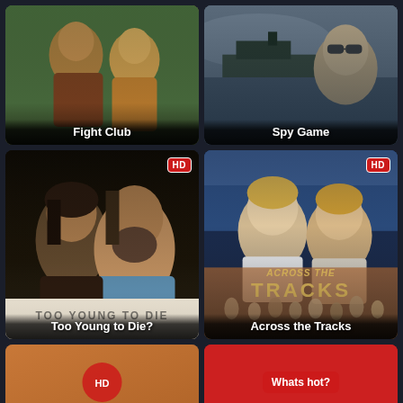[Figure (photo): Fight Club movie poster card showing two male figures with green and warm toned background]
Fight Club
[Figure (photo): Spy Game movie poster card showing a man in sunglasses with military/boat scene background]
Spy Game
[Figure (photo): Too Young to Die? movie poster card marked HD showing two people with dark dramatic background and title text]
Too Young to Die?
[Figure (photo): Across the Tracks movie poster card marked HD showing two young men with orange/warm background and title text overlay]
Across the Tracks
[Figure (photo): Partial bottom-left movie card with warm orange tones]
[Figure (photo): Partial bottom-right card with red background and Whats hot? button]
Whats hot?